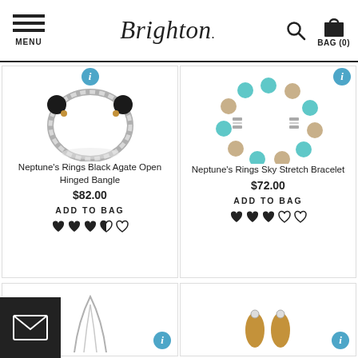Brighton — MENU | Search | BAG (0)
[Figure (photo): Neptune's Rings Black Agate Open Hinged Bangle — silver twisted bangle with black agate ball ends]
Neptune's Rings Black Agate Open Hinged Bangle
$82.00
ADD TO BAG
[Figure (photo): Neptune's Rings Sky Stretch Bracelet — turquoise and tan beaded stretch bracelet with silver spacers]
Neptune's Rings Sky Stretch Bracelet
$72.00
ADD TO BAG
[Figure (photo): Partial view of a silver chain necklace product]
[Figure (photo): Partial view of gold teardrop earrings product]